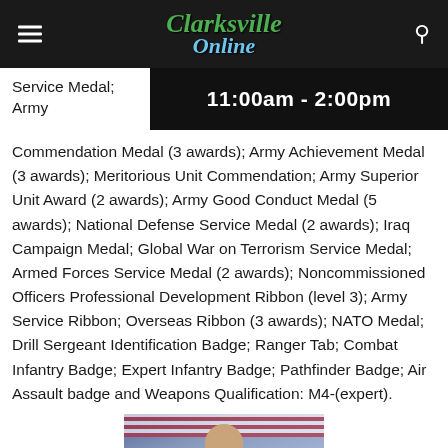Clarksville Online
Service Medal; Army
[Figure (screenshot): Time banner showing 11:00am - 2:00pm on dark background]
Commendation Medal (3 awards); Army Achievement Medal (3 awards); Meritorious Unit Commendation; Army Superior Unit Award (2 awards); Army Good Conduct Medal (5 awards); National Defense Service Medal (2 awards); Iraq Campaign Medal; Global War on Terrorism Service Medal; Armed Forces Service Medal (2 awards); Noncommissioned Officers Professional Development Ribbon (level 3); Army Service Ribbon; Overseas Ribbon (3 awards); NATO Medal; Drill Sergeant Identification Badge; Ranger Tab; Combat Infantry Badge; Expert Infantry Badge; Pathfinder Badge; Air Assault badge and Weapons Qualification: M4-(expert).
[Figure (photo): Portrait photo of a man in military uniform with US flag in background]